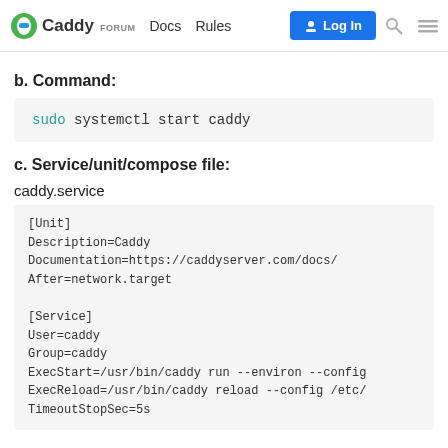Caddy FORUM  Docs  Rules  Log In
b. Command:
sudo systemctl start caddy
c. Service/unit/compose file:
caddy.service
[Unit]
Description=Caddy
Documentation=https://caddyserver.com/docs/
After=network.target

[Service]
User=caddy
Group=caddy
ExecStart=/usr/bin/caddy run --environ --config
ExecReload=/usr/bin/caddy reload --config /etc/
TimeoutStopSec=5s